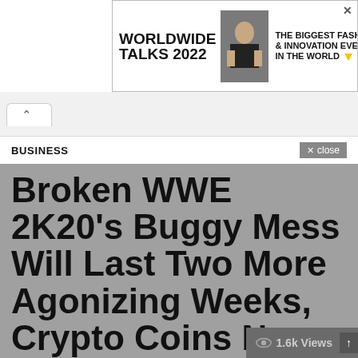[Figure (screenshot): Advertisement banner: WORLDWIDE TALKS 2022 - THE BIGGEST FASHION & INNOVATION EVENT IN THE WORLD with fashion model image]
[Figure (screenshot): Browser chrome showing a tab with up chevron]
BUSINESS
Broken WWE 2K20's Buggy Mess Will Last Two More Agonizing Weeks, Crypto Coins News
1.6k Views